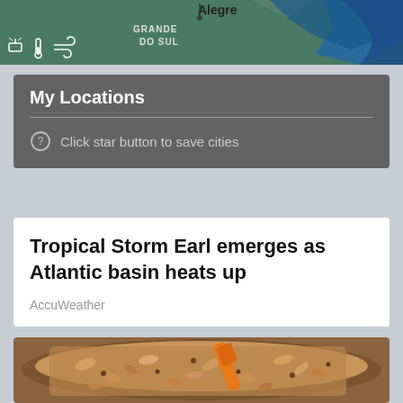[Figure (map): Weather map showing South Brazil region with 'Alegre' label, 'GRANDE DO SUL' text, and weather icons (satellite, thermometer, wind) at bottom left]
My Locations
Click star button to save cities
Tropical Storm Earl emerges as Atlantic basin heats up
AccuWeather
[Figure (photo): Photo of granola/oats in a wooden bowl with an orange spatula/spoon]